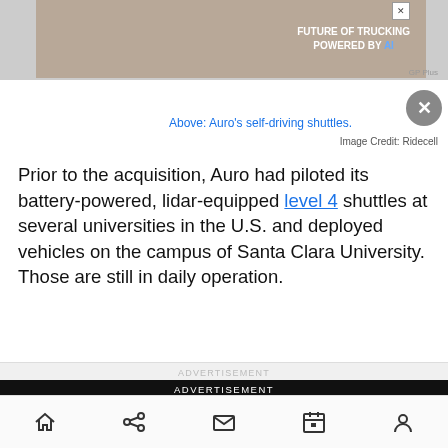[Figure (screenshot): Advertisement banner at top showing a truck with text 'FUTURE OF TRUCKING POWERED BY AI' and a close button]
Above: Auro's self-driving shuttles.
Image Credit: Ridecell
Prior to the acquisition, Auro had piloted its battery-powered, lidar-equipped level 4 shuttles at several universities in the U.S. and deployed vehicles on the campus of Santa Clara University. Those are still in daily operation.
[Figure (screenshot): Advertisement section with label 'ADVERTISEMENT' and image of a speedometer/gauge with blue and red neon lights]
Navigation bar with home, share, mail, calendar, and profile icons